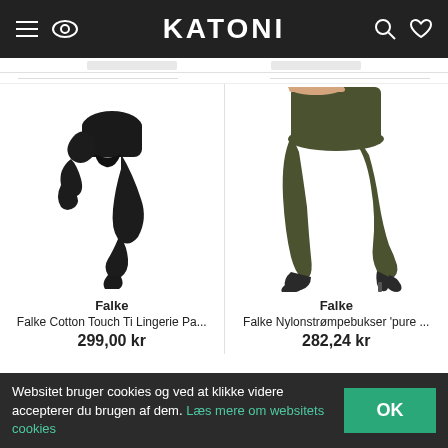KATONI
[Figure (photo): Black tights folded/posed against white background - Falke Cotton Touch Ti Lingerie Pa...]
[Figure (photo): Olive/dark green tights worn by model on white background - Falke Nylonstrømpebukser 'pure ...']
Falke
Falke Cotton Touch Ti Lingerie Pa...
299,00 kr
Falke
Falke Nylonstrømpebukser 'pure ...
282,24 kr
Websitet bruger cookies og ved at klikke videre accepterer du brugen af dem. Læs mere om websitets cookies